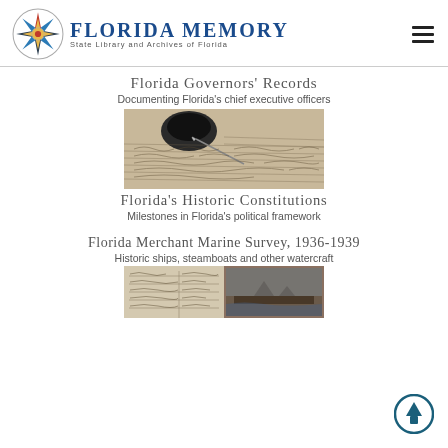[Figure (logo): Florida Memory logo with compass rose and text 'Florida Memory - State Library and Archives of Florida']
Florida Governors' Records
Documenting Florida's chief executive officers
[Figure (photo): Photo of an ink well, quill pen, and handwritten manuscript document]
Florida's Historic Constitutions
Milestones in Florida's political framework
Florida Merchant Marine Survey, 1936-1939
Historic ships, steamboats and other watercraft
[Figure (photo): Partial view of a historical document or ledger with handwritten entries and an old photograph]